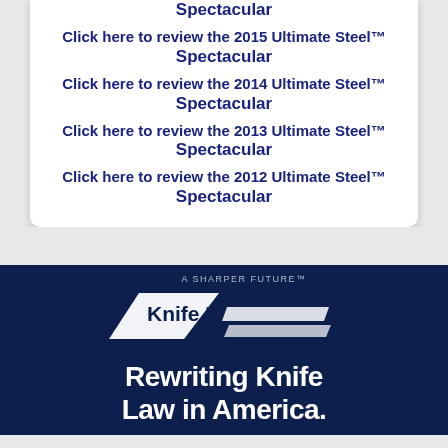Spectacular
Click here to review the 2015 Ultimate Steel™ Spectacular
Click here to review the 2014 Ultimate Steel™ Spectacular
Click here to review the 2013 Ultimate Steel™ Spectacular
Click here to review the 2012 Ultimate Steel™ Spectacular
[Figure (logo): Knife Rights logo with 'A Sharper Future' tagline and 'Rewriting Knife Law in America.' text on dark navy background]